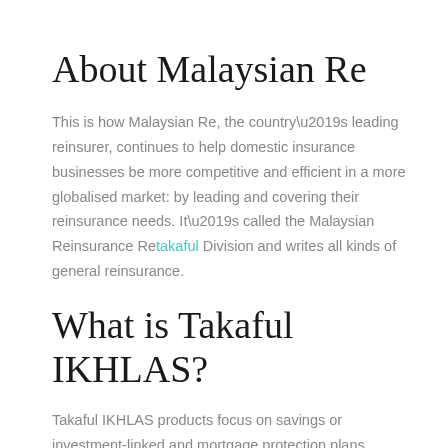About Malaysian Re
This is how Malaysian Re, the country’s leading reinsurer, continues to help domestic insurance businesses be more competitive and efficient in a more globalised market: by leading and covering their reinsurance needs. It’s called the Malaysian Reinsurance Retakaful Division and writes all kinds of general reinsurance.
What is Takaful IKHLAS?
Takaful IKHLAS products focus on savings or investment-linked and mortgage protection plans.